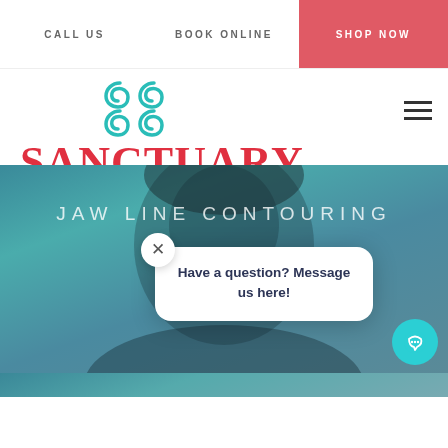CALL US   BOOK ONLINE   SHOP NOW
[Figure (logo): Sanctuary Cosmetic Center logo with teal S-shaped icon and red SANCTUARY text with teal COSMETIC CENTER subtitle]
[Figure (photo): Hero image of woman's face with teal/dark background overlay and text JAW LINE CONTOURING]
Have a question? Message us here!
[Figure (other): Teal circular chat button with speech bubble icon at bottom right]